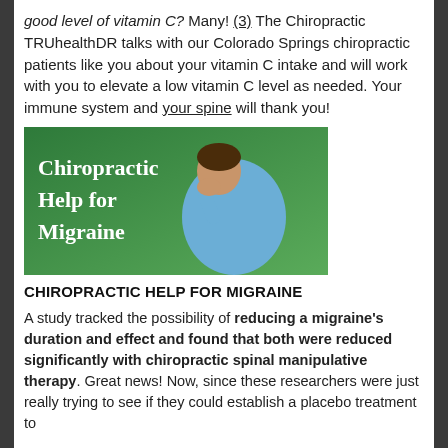good level of vitamin C? Many! (3) The Chiropractic TRUhealthDR talks with our Colorado Springs chiropractic patients like you about your vitamin C intake and will work with you to elevate a low vitamin C level as needed. Your immune system and your spine will thank you!
[Figure (photo): Green background image with white text 'Chiropractic Help for Migraine' and a man in a blue shirt holding his head in distress]
CHIROPRACTIC HELP FOR MIGRAINE
A study tracked the possibility of reducing a migraine's duration and effect and found that both were reduced significantly with chiropractic spinal manipulative therapy. Great news! Now, since these researchers were just really trying to see if they could establish a placebo treatment to